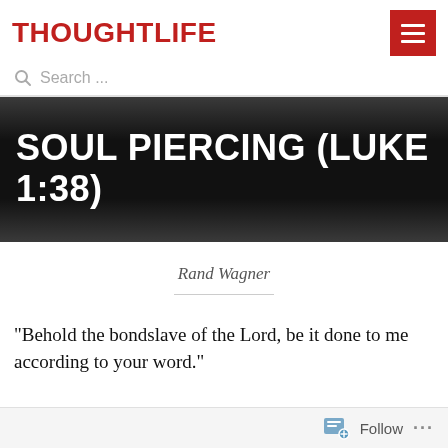THOUGHTLIFE
Search ...
SOUL PIERCING (LUKE 1:38)
Rand Wagner
“Behold the bondslave of the Lord, be it done to me according to your word.”
Follow ...